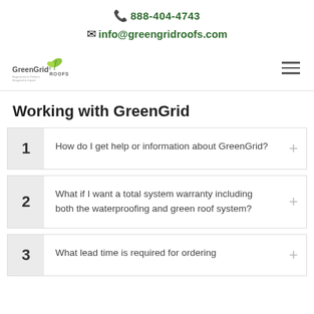📞 888-404-4743
✉ info@greengridroofs.com
[Figure (logo): GreenGrid Roofs logo with green leaf sprout and text]
Working with GreenGrid
1  How do I get help or information about GreenGrid?
2  What if I want a total system warranty including both the waterproofing and green roof system?
3  What lead time is required for ordering